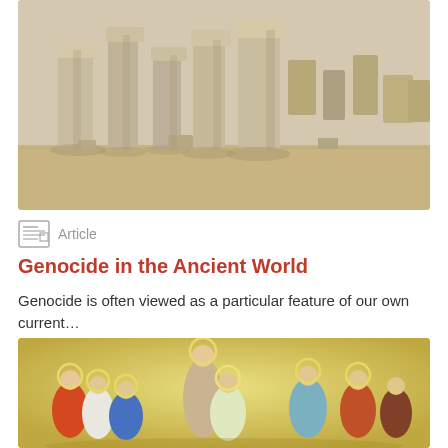[Figure (photo): Archaeological site with ancient stone pillars and ruins arranged on sandy ground in bright sunlight.]
Article
Genocide in the Ancient World
Genocide is often viewed as a particular feature of our own current...
[Figure (photo): Religious fresco painting depicting a group of haloed figures (apostles/saints) gathered in a circle, rendered in Renaissance style with blue, orange, and red robes.]